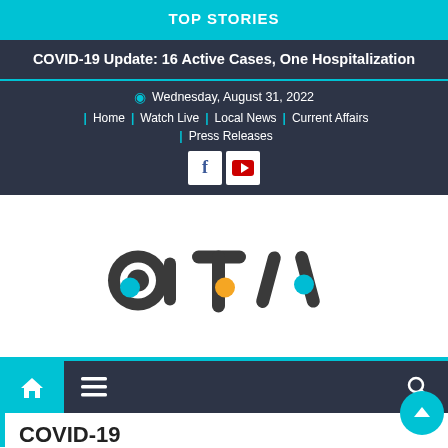TOP STORIES
COVID-19 Update: 16 Active Cases, One Hospitalization
Wednesday, August 31, 2022
Home | Watch Live | Local News | Current Affairs | Press Releases
[Figure (logo): ATV (Anguilla Television) logo with stylized lowercase letters a, t, v in dark charcoal with colored circle accents — blue on 'a', orange/yellow on 't', blue on 'v']
[Figure (screenshot): Bottom navigation bar with home icon, hamburger menu, and search icon on dark background with cyan top border]
COVID-19